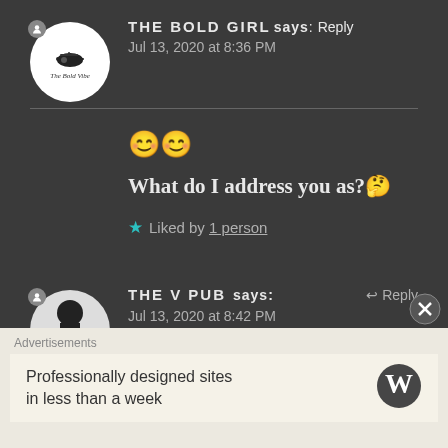THE BOLD GIRL says: Reply
Jul 13, 2020 at 8:36 PM
😊😊
What do I address you as?🤔
★ Liked by 1 person
THE V PUB says: Reply
Jul 13, 2020 at 8:42 PM
Advertisements
Professionally designed sites in less than a week